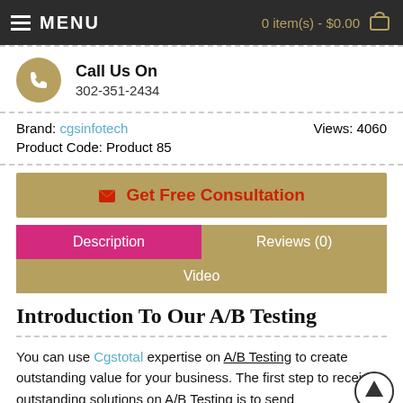MENU   0 item(s) - $0.00
Call Us On
302-351-2434
Brand: cgsinfotech   Views: 4060
Product Code: Product 85
✉ Get Free Consultation
Description | Reviews (0) | Video
Introduction To Our A/B Testing
You can use Cgstotal expertise on A/B Testing to create outstanding value for your business. The first step to receiving outstanding solutions on A/B Testing is to send